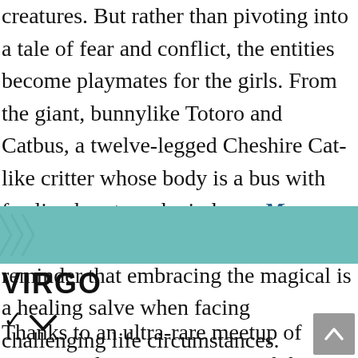creatures. But rather than pivoting into a tale of fear and conflict, the entities become playmates for the girls. From the giant, bunnylike Totoro and Catbus, a twelve-legged Cheshire Cat-like critter whose body is a bus with fur-lined seats and windows, My Neighbor Totoro serves as a potent reminder that embracing the magical is a healing salve when facing challenging life circumstances.
[Figure (illustration): Teal/turquoise banner with repeating chevron (arrow) pattern pointing right, used as a section divider.]
VIRGO
↓
Thanks to an ultra-rare meetup of Jupiter and Saturn in your sixth house of service, your magnanimous nature is at the